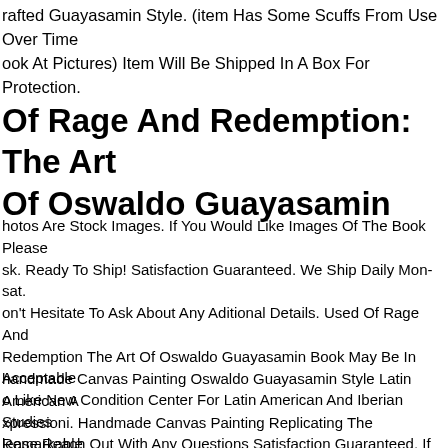rafted Guayasamin Style. (item Has Some Scuffs From Use Over Time ook At Pictures) Item Will Be Shipped In A Box For Protection.
Of Rage And Redemption: The Art Of Oswaldo Guayasamin
hotos Are Stock Images. If You Would Like Images Of The Book Please sk. Ready To Ship! Satisfaction Guaranteed. We Ship Daily Mon-sat. on't Hesitate To Ask About Any Aditional Details. Used Of Rage And Redemption The Art Of Oswaldo Guayasamin Book May Be In Acceptable o Like New Condition Center For Latin American And Iberian Studies lease Reach Out With Any Questions Satisfaction Guaranteed, If You Are nhappy With Your Order I Will Make It Right. Check Out My Ebay Store or Thousands Of Other Listings And Volume Discounts httpswww.ebay.comstrillventuretrksidp2047675.l2563
handmade Canvas Painting Oswaldo Guayasamin Style Latin American A xpressioni. Handmade Canvas Painting Replicating The Remarkable tyle Of The Ecuadorian Master Painter & Sculptor Oswaldo Guayasamin .919-1999), Who Focused On Portraying The Rampant Oppression, overty And Political Strife Of The Era.